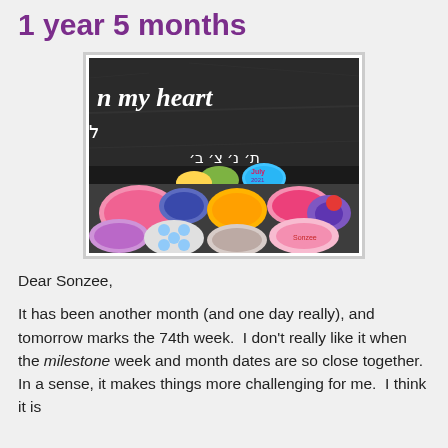1 year 5 months
[Figure (photo): A gravestone with Hebrew and English text reading 'in my heart' and Hebrew inscription, with colorful painted memorial stones/rocks placed at the base of the headstone.]
Dear Sonzee,
It has been another month (and one day really), and tomorrow marks the 74th week.  I don't really like it when the milestone week and month dates are so close together.  In a sense, it makes things more challenging for me.  I think it is